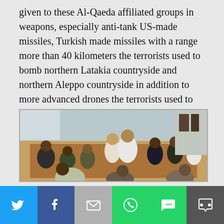given to these Al-Qaeda affiliated groups in weapons, especially anti-tank US-made missiles, Turkish made missiles with a range more than 40 kilometers the terrorists used to bomb northern Latakia countryside and northern Aleppo countryside in addition to more advanced drones the terrorists used to attack the Russian base at Hmeimim and Hama military airport with.
[Figure (photo): Group of men sitting in a circle on ornate carpet and cushions in a room, appearing to be in a meeting or gathering.]